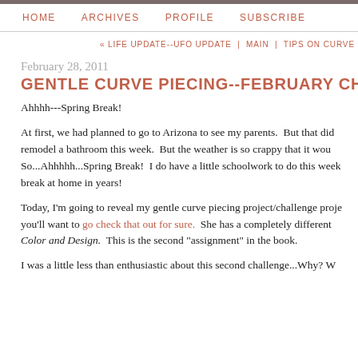HOME   ARCHIVES   PROFILE   SUBSCRIBE
« LIFE UPDATE--UFO UPDATE | MAIN | TIPS ON CURVE
February 28, 2011
GENTLE CURVE PIECING--FEBRUARY CHALLENGE
Ahhhh---Spring Break!
At first, we had planned to go to Arizona to see my parents.  But that did remodel a bathroom this week.  But the weather is so crappy that it wou So...Ahhhhh...Spring Break!  I do have a little schoolwork to do this week break at home in years!
Today, I'm going to reveal my gentle curve piecing project/challenge proje you'll want to go check that out for sure.  She has a completely different Color and Design.  This is the second "assignment" in the book.
I was a little less than enthusiastic about this second challenge...Why? W